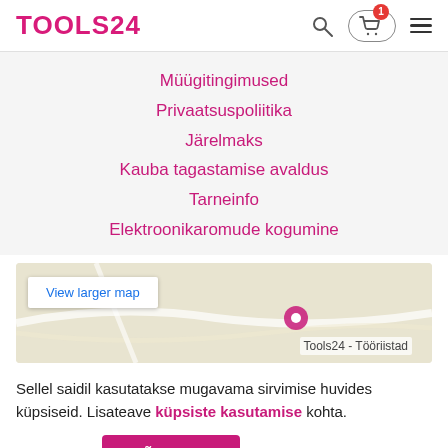TOOLS24
Müügitingimused
Privaatsuspoliitika
Järelmaks
Kauba tagastamise avaldus
Tarneinfo
Elektroonikaromude kogumine
[Figure (screenshot): Embedded Google Map showing Tools24 location with 'View larger map' button and 'Tools24 - Tööriistad' label]
Sellel saidil kasutatakse mugavama sirvimise huvides küpsiseid. Lisateave küpsiste kasutamise kohta.
ROHKEM    NÕUSTUN